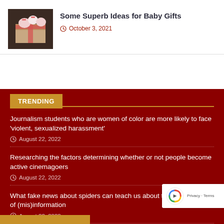[Figure (photo): Thumbnail image of baby gifts — wrapped items and baby clothing on dark background]
Some Superb Ideas for Baby Gifts
October 3, 2021
TRENDING
Journalism students who are women of color are more likely to face 'violent, sexualized harassment'
August 22, 2022
Researching the factors determining whether or not people become active cinemagoers
August 22, 2022
What fake news about spiders can teach us about the global spread of (mis)information
August 22, 2022
[Figure (logo): reCAPTCHA badge with Google logo and Privacy/Terms links]